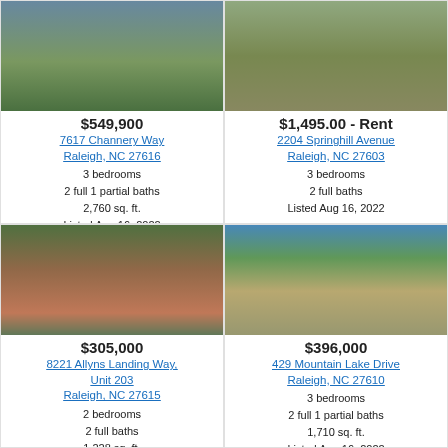[Figure (photo): Exterior photo of house at 7617 Channery Way with green lawn]
$549,900
7617 Channery Way Raleigh, NC 27616
3 bedrooms
2 full 1 partial baths
2,760 sq. ft.
Listed Aug 16, 2022
[Figure (photo): Photo of driveway and grass at 2204 Springhill Avenue]
$1,495.00 - Rent
2204 Springhill Avenue Raleigh, NC 27603
3 bedrooms
2 full baths
Listed Aug 16, 2022
[Figure (photo): Exterior photo of brick building at 8221 Allyns Landing Way Unit 203]
$305,000
8221 Allyns Landing Way, Unit 203 Raleigh, NC 27615
2 bedrooms
2 full baths
1,228 sq. ft.
[Figure (photo): Exterior photo of two-story house at 429 Mountain Lake Drive]
$396,000
429 Mountain Lake Drive Raleigh, NC 27610
3 bedrooms
2 full 1 partial baths
1,710 sq. ft.
Listed Aug 16, 2022